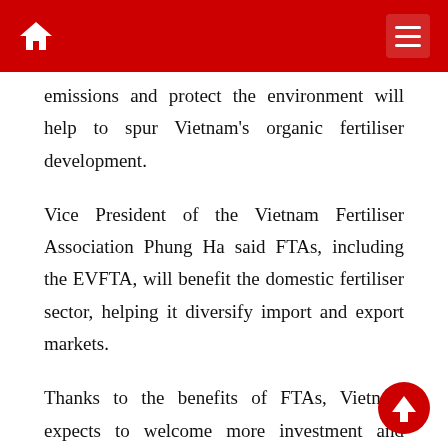emissions and protect the environment will help to spur Vietnam's organic fertiliser development.
Vice President of the Vietnam Fertiliser Association Phung Ha said FTAs, including the EVFTA, will benefit the domestic fertiliser sector, helping it diversify import and export markets.
Thanks to the benefits of FTAs, Vietnam expects to welcome more investment and domestic firms will have more opportunities to access scientific and technological advances from developed countries.
The official suggested agencies map out plans to put an end to the use of chemicals in agriculture in order to help